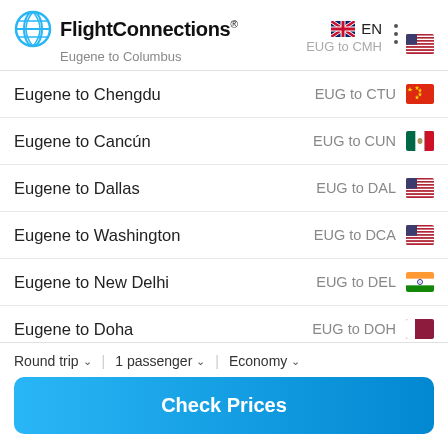FlightConnections® — Eugene to Columbus — EUG to CMH — EN
Eugene to Chengdu — EUG to CTU
Eugene to Cancún — EUG to CUN
Eugene to Dallas — EUG to DAL
Eugene to Washington — EUG to DCA
Eugene to New Delhi — EUG to DEL
Eugene to Doha — EUG to DOH
Round trip   1 passenger   Economy
Check Prices